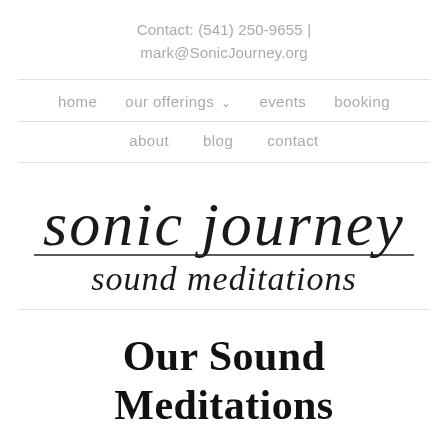Contact: (541) 250-9655 | mark@SonicJourney.org
home   our offerings ∨   events   booking
about   blog   contact
[Figure (logo): Sonic Journey sound meditations script logo with decorative underline]
Our Sound Meditations